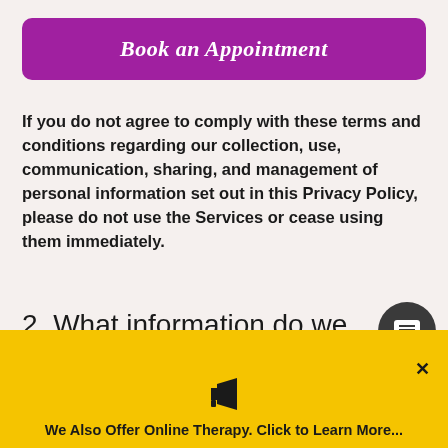Book an Appointment
If you do not agree to comply with these terms and conditions regarding our collection, use, communication, sharing, and management of personal information set out in this Privacy Policy, please do not use the Services or cease using them immediately.
2. What information do we collect and how do we use it?
We Also Offer Online Therapy. Click to Learn More...